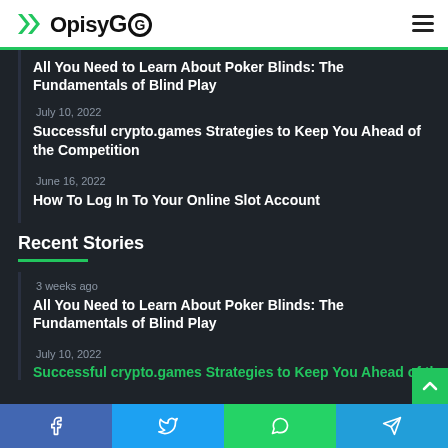OpisyGG
All You Need to Learn About Poker Blinds: The Fundamentals of Blind Play
July 10, 2022
Successful crypto.games Strategies to Keep You Ahead of the Competition
June 16, 2022
How To Log In To Your Online Slot Account
Recent Stories
3 weeks ago
All You Need to Learn About Poker Blinds: The Fundamentals of Blind Play
July 10, 2022
Successful crypto.games Strategies to Keep You Ahead of the Competition